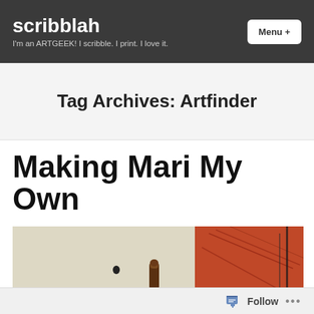scribblah — I'm an ARTGEEK! I scribble. I print. I love it.
Tag Archives: Artfinder
Making Mari My Own
[Figure (photo): Partial photo of a printmaking or art workspace showing a brayer/roller tool and artwork with red/orange colors on the right side]
Follow ...